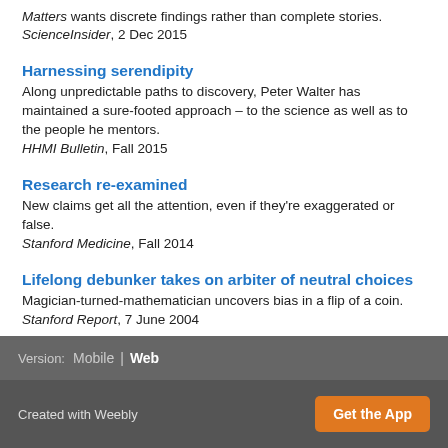Matters wants discrete findings rather than complete stories.
ScienceInsider, 2 Dec 2015
Harnessing serendipity
Along unpredictable paths to discovery, Peter Walter has maintained a sure-footed approach – to the science as well as to the people he mentors.
HHMI Bulletin, Fall 2015
Research re-examined
New claims get all the attention, even if they're exaggerated or false.
Stanford Medicine, Fall 2014
Lifelong debunker takes on arbiter of neutral choices
Magician-turned-mathematician uncovers bias in a flip of a coin.
Stanford Report, 7 June 2004
Version: Mobile | Web
Created with Weebly  Get the App